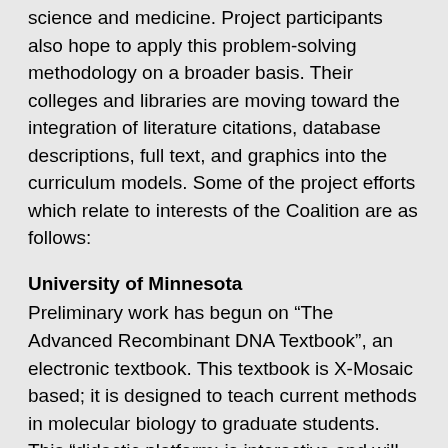science and medicine. Project participants also hope to apply this problem-solving methodology on a broader basis. Their colleges and libraries are moving toward the integration of literature citations, database descriptions, full text, and graphics into the curriculum models. Some of the project efforts which relate to interests of the Coalition are as follows:
University of Minnesota
Preliminary work has begun on “The Advanced Recombinant DNA Textbook”, an electronic textbook. This textbook is X-Mosaic based; it is designed to teach current methods in molecular biology to graduate students. This “didactic platform: is interactive and will be available via a variety of access methods.
University of Wisconsin-Madison
The campus project team members have developed